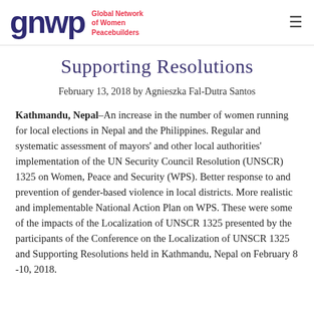gnwp Global Network of Women Peacebuilders
Supporting Resolutions
February 13, 2018 by Agnieszka Fal-Dutra Santos
Kathmandu, Nepal–An increase in the number of women running for local elections in Nepal and the Philippines. Regular and systematic assessment of mayors' and other local authorities' implementation of the UN Security Council Resolution (UNSCR) 1325 on Women, Peace and Security (WPS). Better response to and prevention of gender-based violence in local districts. More realistic and implementable National Action Plan on WPS. These were some of the impacts of the Localization of UNSCR 1325 presented by the participants of the Conference on the Localization of UNSCR 1325 and Supporting Resolutions held in Kathmandu, Nepal on February 8 -10, 2018.